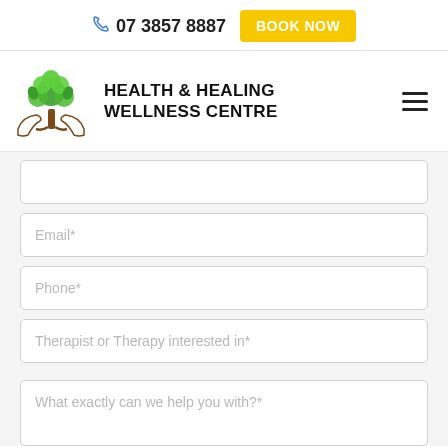07 3857 8887   BOOK NOW
[Figure (logo): Health & Healing Wellness Centre logo with tree and hands graphic]
HEALTH & HEALING WELLNESS CENTRE
Email*
Phone*
Therapist or Therapy interested in*
What exactly can we help you with?*